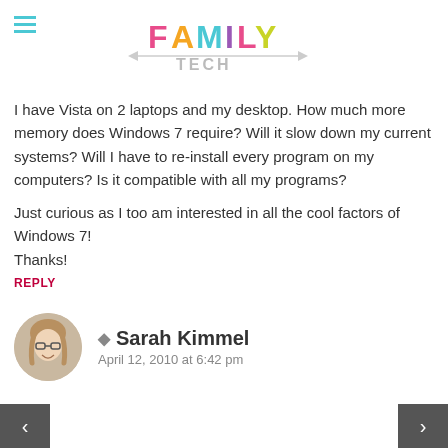Family Tech logo with hamburger menu
I have Vista on 2 laptops and my desktop. How much more memory does Windows 7 require? Will it slow down my current systems? Will I have to re-install every program on my computers? Is it compatible with all my programs?
Just curious as I too am interested in all the cool factors of Windows 7!
Thanks!
REPLY
Sarah Kimmel
April 12, 2010 at 6:42 pm